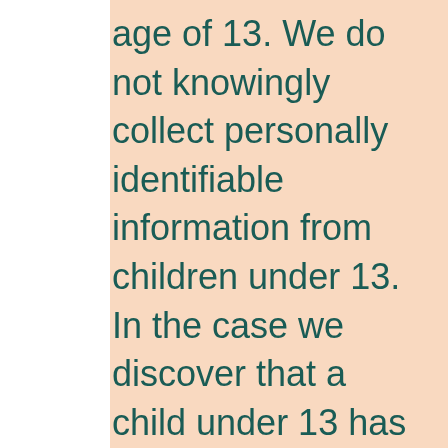age of 13. We do not knowingly collect personally identifiable information from children under 13. In the case we discover that a child under 13 has provided us with personal information, we immediately delete this from our servers. If you are a parent or